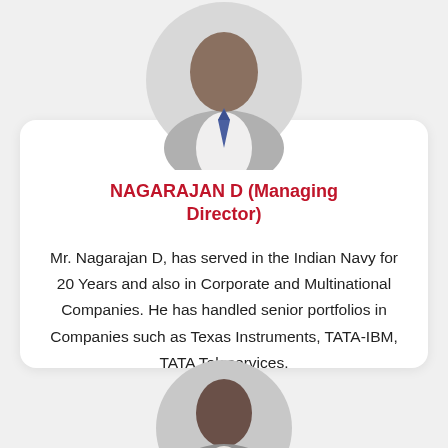[Figure (photo): Circular headshot photo of Nagarajan D, a man in a suit and tie, shown from the shoulders up, top portion of the page]
NAGARAJAN D (Managing Director)
Mr. Nagarajan D, has served in the Indian Navy for 20 Years and also in Corporate and Multinational Companies. He has handled senior portfolios in Companies such as Texas Instruments, TATA-IBM, TATA Teleservices.
[Figure (photo): Circular headshot photo of another person, partially visible at the bottom of the page]